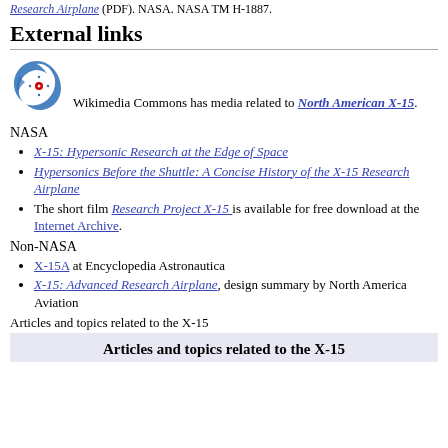Research Airplane (PDF). NASA. NASA TM H-1887.
External links
[Figure (logo): Wikimedia Commons logo — a stylized blue swirl with a red and white center circle]
Wikimedia Commons has media related to North American X-15.
NASA
X-15: Hypersonic Research at the Edge of Space
Hypersonics Before the Shuttle: A Concise History of the X-15 Research Airplane
The short film Research Project X-15 is available for free download at the Internet Archive.
Non-NASA
X-15A at Encyclopedia Astronautica
X-15: Advanced Research Airplane, design summary by North America Aviation
Articles and topics related to the X-15
| Articles and topics related to the X-15 |
| --- |